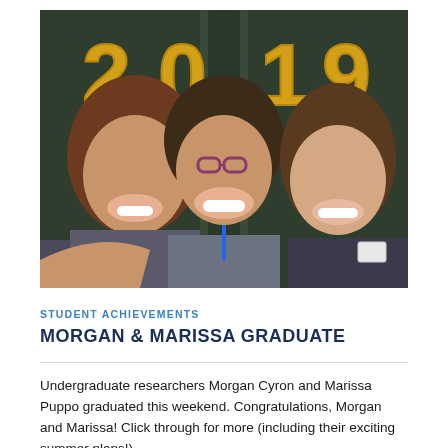[Figure (photo): Three smiling young women taking a selfie in front of a chalkboard decorated with gold '2019' balloons, at what appears to be a graduation celebration.]
STUDENT ACHIEVEMENTS
MORGAN & MARISSA GRADUATE
Undergraduate researchers Morgan Cyron and Marissa Puppo graduated this weekend. Congratulations, Morgan and Marissa! Click through for more (including their exciting summer plans!).